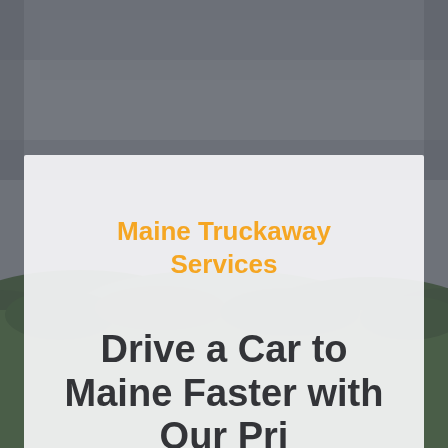[Figure (photo): Outdoor landscape photo showing dark stormy grey sky above and green forested hills/trees in the lower portion, serving as a full-page background image.]
Maine Truckaway Services
Drive a Car to Maine Faster with Our Pri...